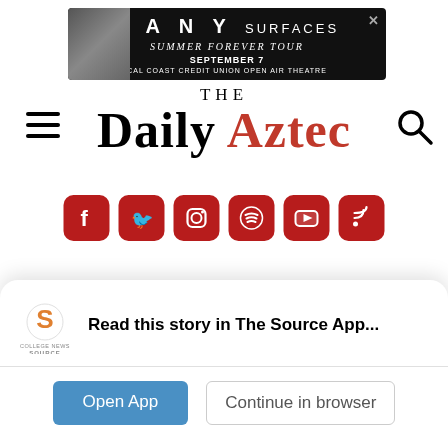[Figure (screenshot): Advertisement banner for LANY Surfaces Summer Forever Tour, September 7, Cal Coast Credit Union Open Air Theatre]
THE DAILY AZTEC
[Figure (infographic): Social media icon buttons: Facebook, Twitter, Instagram, Spotify, YouTube, RSS feed — all in dark red/maroon rounded square icons]
Nationally ranked
[Figure (logo): College News Source logo — circular S-shaped icon with 'COLLEGE NEWS SOURCE' text beneath]
Read this story in The Source App...
Open App
Continue in browser